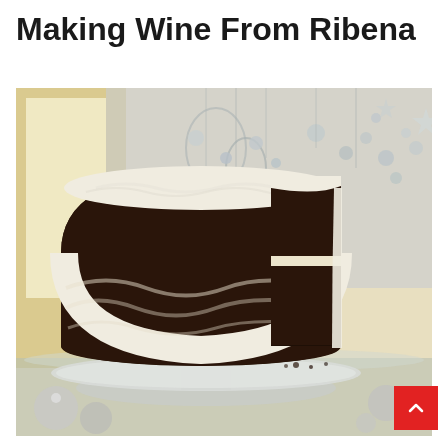Making Wine From Ribena
[Figure (photo): A chocolate layer cake with white cream cheese frosting, with a slice removed to reveal two dark chocolate layers with cream filling, displayed on a silver cake stand. Background shows silver/white decorative hanging ornaments in a festive setting.]
[Figure (other): Red scroll-to-top button with upward chevron arrow in bottom right corner of the page.]